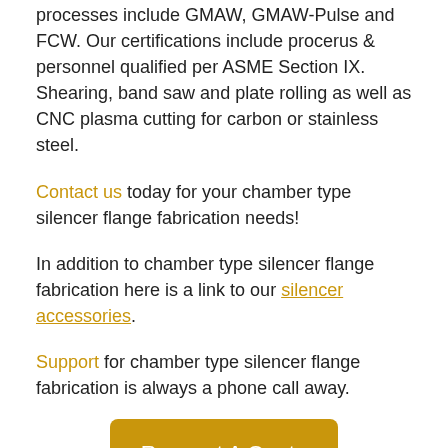processes include GMAW, GMAW-Pulse and FCW. Our certifications include procerus & personnel qualified per ASME Section IX. Shearing, band saw and plate rolling as well as CNC plasma cutting for carbon or stainless steel.
Contact us today for your chamber type silencer flange fabrication needs!
In addition to chamber type silencer flange fabrication here is a link to our silencer accessories.
Support for chamber type silencer flange fabrication is always a phone call away.
[Figure (other): Gold rounded button with white text reading 'Request A Quote']
[Figure (other): Black rounded button with bold white text reading 'ASK A QUESTION']